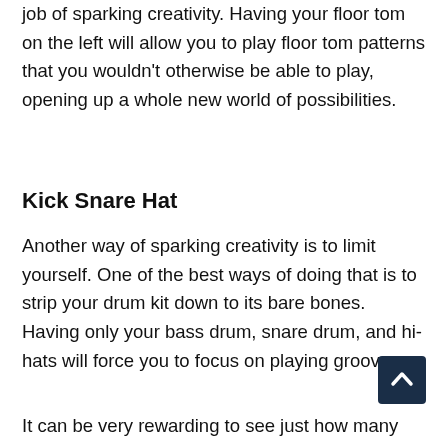job of sparking creativity. Having your floor tom on the left will allow you to play floor tom patterns that you wouldn't otherwise be able to play, opening up a whole new world of possibilities.
Kick Snare Hat
Another way of sparking creativity is to limit yourself. One of the best ways of doing that is to strip your drum kit down to its bare bones. Having only your bass drum, snare drum, and hi-hats will force you to focus on playing grooves.
It can be very rewarding to see just how many